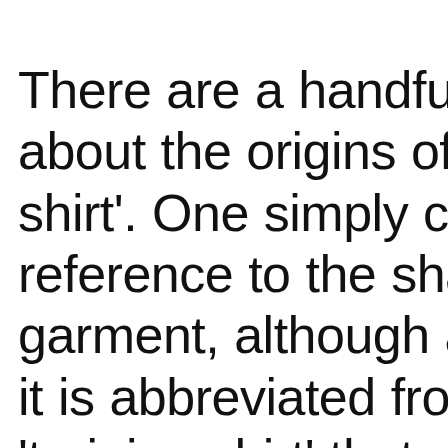There are a handful about the origins of shirt'. One simply cl reference to the sha garment, although a it is abbreviated fro 'training shirt' that w given to the t-shirts